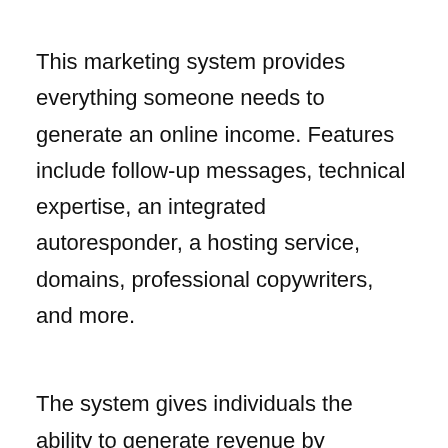This marketing system provides everything someone needs to generate an online income. Features include follow-up messages, technical expertise, an integrated autoresponder, a hosting service, domains, professional copywriters, and more.
The system gives individuals the ability to generate revenue by marketing products that companies have created, selling them, and then receiving a portion of the profits. Doing business in this manner eliminates the competition and testing period